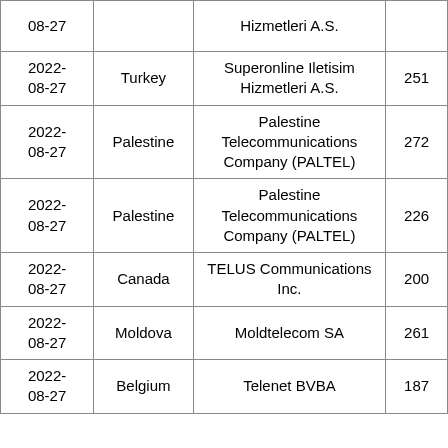| Date | Country | Organization | Number |
| --- | --- | --- | --- |
| 2022-08-27 |  | Hizmetleri A.S. |  |
| 2022-08-27 | Turkey | Superonline Iletisim Hizmetleri A.S. | 251 |
| 2022-08-27 | Palestine | Palestine Telecommunications Company (PALTEL) | 272 |
| 2022-08-27 | Palestine | Palestine Telecommunications Company (PALTEL) | 226 |
| 2022-08-27 | Canada | TELUS Communications Inc. | 200 |
| 2022-08-27 | Moldova | Moldtelecom SA | 261 |
| 2022-08-27 | Belgium | Telenet BVBA | 187 |